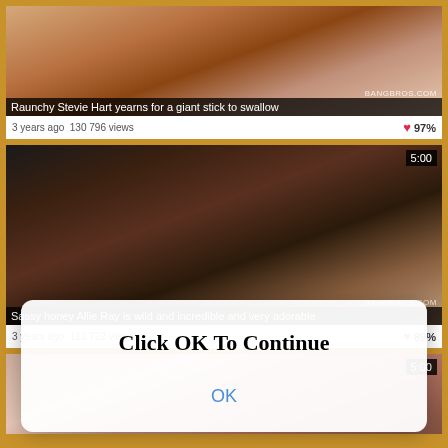[Figure (screenshot): Video thumbnail showing adult content - first video card]
Raunchy Stevie Hart yearns for a giant stick to swallow
BANGBROS.COM
3 years ago  130 796 views
97%
[Figure (screenshot): Video thumbnail showing adult content - second video card with modal dialog overlay]
5:00
Click OK To Continue
OK
Sassy honey Allie Ray is wild and incredible and very adorable
BANGBROS.COM
3 years ago  111 722 views
89%
[Figure (screenshot): Video thumbnail showing adult content - third video card, partially visible]
5:00